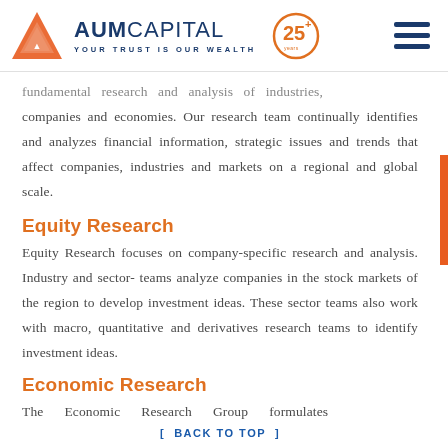AUM CAPITAL — YOUR TRUST IS OUR WEALTH
fundamental research and analysis of industries, companies and economies. Our research team continually identifies and analyzes financial information, strategic issues and trends that affect companies, industries and markets on a regional and global scale.
Equity Research
Equity Research focuses on company-specific research and analysis. Industry and sector- teams analyze companies in the stock markets of the region to develop investment ideas. These sector teams also work with macro, quantitative and derivatives research teams to identify investment ideas.
Economic Research
The Economic Research Group formulates